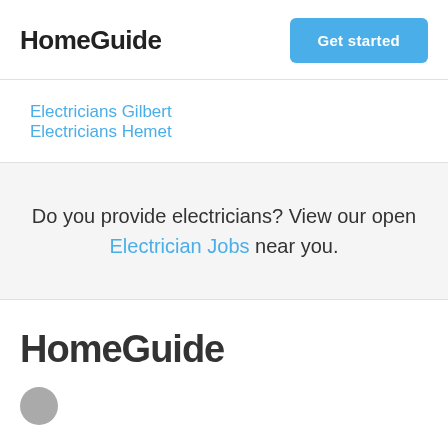HomeGuide
Electricians Gilbert
Electricians Hemet
Do you provide electricians? View our open Electrician Jobs near you.
HomeGuide